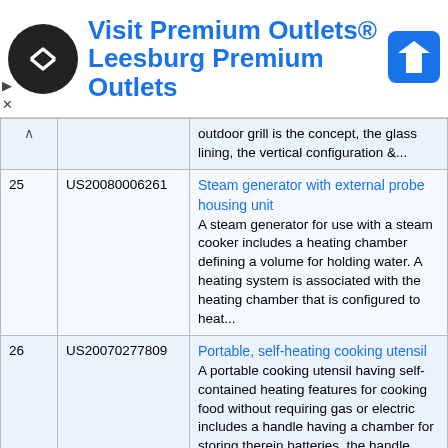[Figure (screenshot): Advertisement banner for 'Visit Premium Outlets® - Leesburg Premium Outlets' with circular logo, blue text, and navigation arrow icon]
| # | Patent ID | Title / Description |
| --- | --- | --- |
|  |  | outdoor grill is the concept, the glass lining, the vertical configuration &... |
| 25 | US20080006261 | Steam generator with external probe housing unit
A steam generator for use with a steam cooker includes a heating chamber defining a volume for holding water. A heating system is associated with the heating chamber that is configured to heat... |
| 26 | US20070277809 | Portable, self-heating cooking utensil
A portable cooking utensil having self-contained heating features for cooking food without requiring gas or electric includes a handle having a chamber for storing therein batteries, the handle... |
| 27 | US20160066368 | COOKING DEVICE
A cooking appliance includes a housing unit, a cooking chamber, a steam generation unit for supplying the cooking |